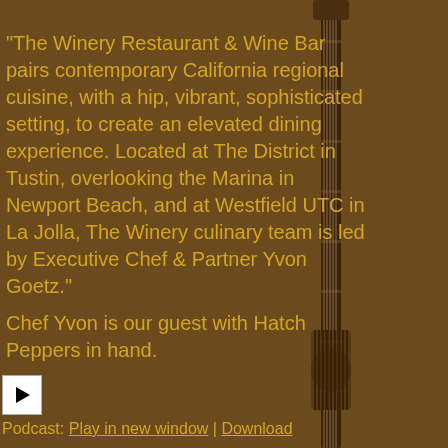“The Winery Restaurant & Wine Bar pairs contemporary California regional cuisine, with a hip, vibrant, sophisticated setting, to create an elevated dining experience. Located at The District in Tustin, overlooking the Marina in Newport Beach, and at Westfield UTC in La Jolla, The Winery culinary team is led by Executive Chef & Partner Yvon Goetz.”
[Figure (illustration): Decorative guitar neck/body image on the right side of the page, brown tones]
Chef Yvon is our guest with Hatch Peppers in hand.
[Figure (other): Play button (triangle/arrow icon on white square background)]
Podcast: Play in new window | Download
Subscribe: Apple Podcasts | RSS